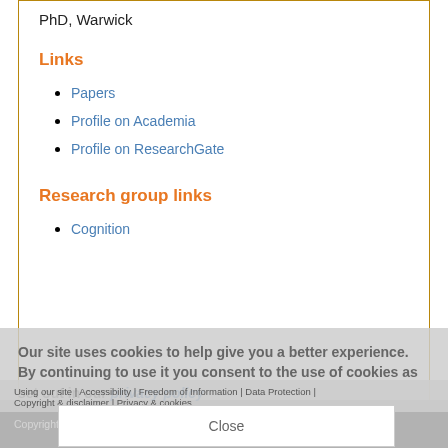PhD, Warwick
Links
Papers
Profile on Academia
Profile on ResearchGate
Research group links
Cognition
Back | Edit Profile
Our site uses cookies to help give you a better experience. By continuing to use it you consent to the use of cookies as set out in our privacy policy
Using our site | Accessibility | Freedom of Information | Data Protection | Copyright & disclaimer | Privacy & cookies
Close
Copyright University of Exeter. All rights reserved.